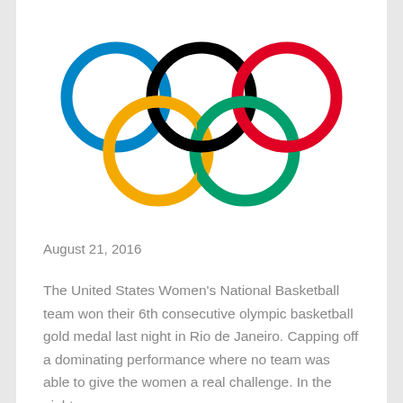[Figure (logo): Olympic rings logo: five interlocking rings in blue, black, red (top row), yellow and green (bottom row)]
August 21, 2016
The United States Women's National Basketball team won their 6th consecutive olympic basketball gold medal last night in Rio de Janeiro. Capping off a dominating performance where no team was able to give the women a real challenge. In the eight games